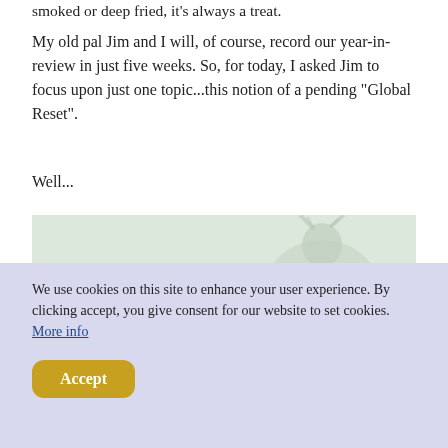smoked or deep fried, it's always a treat.
My old pal Jim and I will, of course, record our year-in-review in just five weeks. So, for today, I asked Jim to focus upon just one topic...this notion of a pending "Global Reset".
Well...
[Figure (screenshot): Video thumbnail showing a deer or similar animal in a washed-out greenish image with a play button overlay in the center.]
We use cookies on this site to enhance your user experience. By clicking accept, you give consent for our website to set cookies. More info
Accept